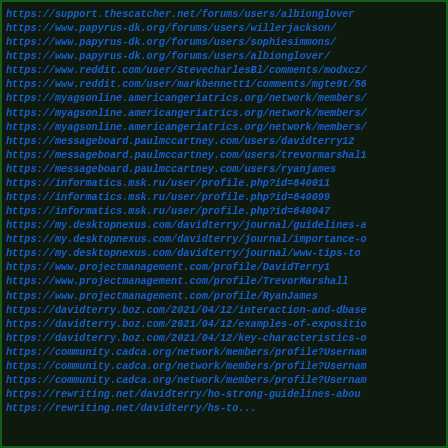https://support.thescatcher.net/forums/users/albionglover
https://www.papyrus-dk.org/forums/users/willerjackson/
https://www.papyrus-dk.org/forums/users/sophiesimmons/
https://www.papyrus-dk.org/forums/users/albionglover/
https://www.reddit.com/user/StevecharlesBl/comments/modxcz/
https://www.reddit.com/user/markbennett1/comments/mgte9t/56
https://myagsonline.americangeriatrics.org/network/members/
https://myagsonline.americangeriatrics.org/network/members/
https://myagsonline.americangeriatrics.org/network/members/
https://messageboard.paulmccartney.com/users/davidterry12
https://messageboard.paulmccartney.com/users/trevormarshal1
https://messageboard.paulmccartney.com/users/ryanjames
https://informatics.msk.ru/user/profile.php?id=640011
https://informatics.msk.ru/user/profile.php?id=640099
https://informatics.msk.ru/user/profile.php?id=640047
https://my.desktopnexus.com/davidterry/journal/guidelines-a
https://my.desktopnexus.com/davidterry/journal/importance-o
https://my.desktopnexus.com/davidterry/journal/www-tips-to
https://www.projectmanagement.com/profile/DavidTerry1
https://www.projectmanagement.com/profile/TrevorMarshall
https://www.projectmanagement.com/profile/RyanJames
https://davidterry.boz.com/2021/04/12/interaction-and-dbase
https://davidterry.boz.com/2021/04/12/examples-of-expositio
https://davidterry.boz.com/2021/04/12/key-characteristics-o
https://community.cadca.org/network/members/profile?Usernam
https://community.cadca.org/network/members/profile?Usernam
https://community.cadca.org/network/members/profile?Usernam
https://rewriting.net/davidterry/ho-strong-guidelines-abou
https://rewriting.net/davidterry/hs-to...